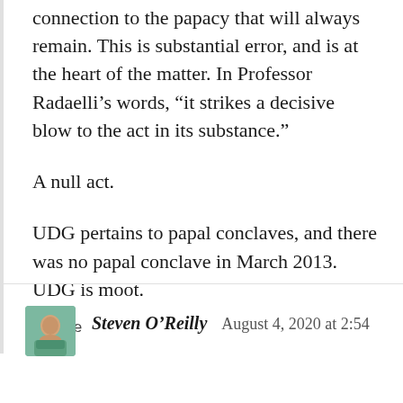connection to the papacy that will always remain. This is substantial error, and is at the heart of the matter. In Professor Radaelli’s words, “it strikes a decisive blow to the act in its substance.”
A null act.
UDG pertains to papal conclaves, and there was no papal conclave in March 2013. UDG is moot.
★ Like
Steven O’Reilly   August 4, 2020 at 2:54